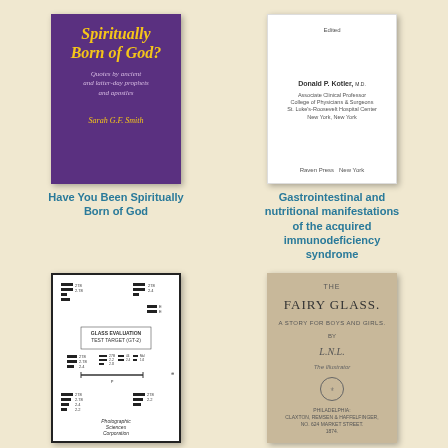[Figure (photo): Book cover: 'Have You Been Spiritually Born of God?' by Sarah G.F. Smith, purple cover with gold italic title text]
Have You Been Spiritually Born of God
[Figure (photo): Title page of a medical book edited by Donald P. Kotler, published by Raven Press, New York]
Gastrointestinal and nutritional manifestations of the acquired immunodeficiency syndrome
[Figure (photo): Photographic image of a glass evaluation test target chart with various resolution patterns, by Photographic Sciences Corporation]
[Figure (photo): Book cover: 'The Fairy Glass: A Story for Boys and Girls' by L.N.L., published in Philadelphia by Claxton, Remsen & Haffelfinger, 1874]
The Fairy Glass